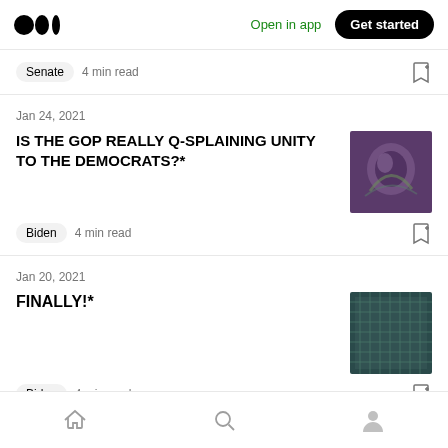Medium logo | Open in app | Get started
Senate   4 min read
Jan 24, 2021
IS THE GOP REALLY Q-SPLAINING UNITY TO THE DEMOCRATS?*
Biden   4 min read
Jan 20, 2021
FINALLY!*
Biden   4 min read
Home | Search | Profile